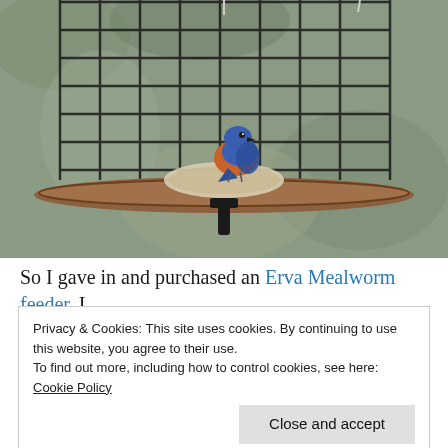[Figure (photo): A bluebird (blue and orange coloring) perched inside a wire cage-style bird feeder with a tray holding mealworms, set against a blurred natural background.]
So I gave in and purchased an Erva Mealworm feeder. I
Privacy & Cookies: This site uses cookies. By continuing to use this website, you agree to their use.
To find out more, including how to control cookies, see here: Cookie Policy
Close and accept
than a stray spilled mealworm or two. They mostly